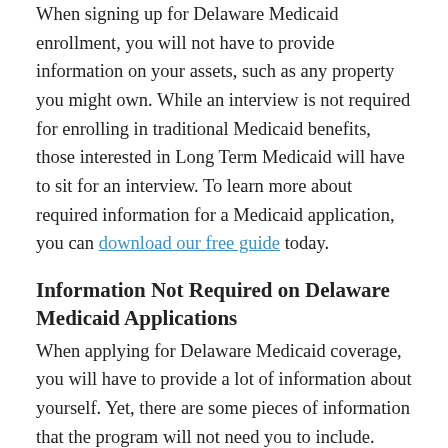When signing up for Delaware Medicaid enrollment, you will not have to provide information on your assets, such as any property you might own. While an interview is not required for enrolling in traditional Medicaid benefits, those interested in Long Term Medicaid will have to sit for an interview. To learn more about required information for a Medicaid application, you can download our free guide today.
Information Not Required on Delaware Medicaid Applications
When applying for Delaware Medicaid coverage, you will have to provide a lot of information about yourself. Yet, there are some pieces of information that the program will not need you to include. Regardless of where you apply for Medicaid in DE, if you are older than 21 years of age, you will not need to provide information about your parents or any other adult relative as long as you are filing your taxes separately. The application for Medicaid will also not require